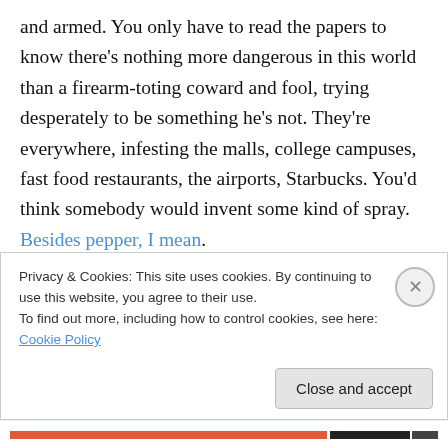and armed. You only have to read the papers to know there's nothing more dangerous in this world than a firearm-toting coward and fool, trying desperately to be something he's not. They're everywhere, infesting the malls, college campuses, fast food restaurants, the airports, Starbucks. You'd think somebody would invent some kind of spray. Besides pepper, I mean.
From The Amateur, we switch to the perspective of Detective Third Grade William Dougherty. When last we saw him, Parker had invaded his home, made tacit but
Privacy & Cookies: This site uses cookies. By continuing to use this website, you agree to their use.
To find out more, including how to control cookies, see here: Cookie Policy